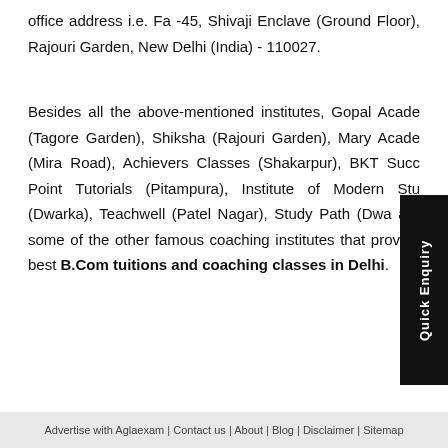office address i.e. Fa -45, Shivaji Enclave (Ground Floor), Rajouri Garden, New Delhi (India) - 110027.
Besides all the above-mentioned institutes, Gopal Academy (Tagore Garden), Shiksha (Rajouri Garden), Mary Academy (Mira Road), Achievers Classes (Shakarpur), BKT Success Point Tutorials (Pitampura), Institute of Modern Studies (Dwarka), Teachwell (Patel Nagar), Study Path (Dwarka) are some of the other famous coaching institutes that provide best B.Com tuitions and coaching classes in Delhi.
Advertise with Aglaexam | Contact us | About | Blog | Disclaimer | Sitemap